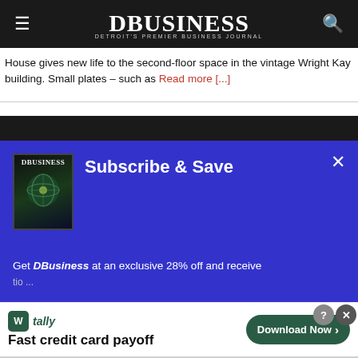DBUSINESS — Detroit's Premier Business Journal
House gives new life to the second-floor space in the vintage Wright Kay building. Small plates – such as Read more [...]
[Figure (screenshot): DBusiness subscribe & save modal overlay on blue background with magazine cover image, showing 'Subscribe & Save' heading and text 'Get DBusiness at an exclusive 28% off and receive...']
[Figure (infographic): Tally app advertisement banner: 'Fast credit card payoff' with green Download Now button]